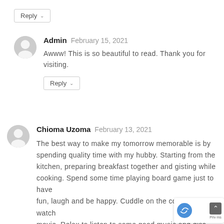Reply
Admin  February 15, 2021
Awww! This is so beautiful to read. Thank you for visiting.
Reply
Chioma Uzoma  February 13, 2021
The best way to make my tomorrow memorable is by spending quality time with my hubby. Starting from the kitchen, preparing breakfast together and gisting while cooking. Spend some time playing board game just to have fun, laugh and be happy. Cuddle on the couch to watch movie. Relax to listen to some good music and disc... intimately to rekindle the love we share. In the even... stroll within the neighbourhood. Finally, at night, enj... shower time before retiring to bed. It's going to be an...